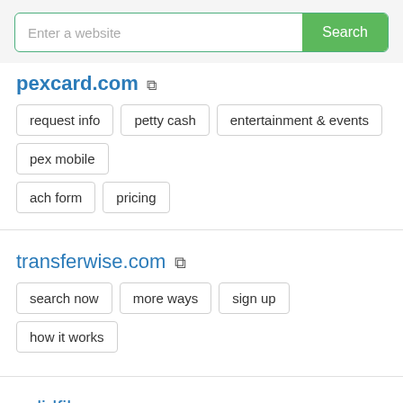[Figure (screenshot): Search bar with placeholder 'Enter a website' and green 'Search' button]
pexcard.com ↗
request info
petty cash
entertainment & events
pex mobile
ach form
pricing
transferwise.com ↗
search now
more ways
sign up
how it works
solidfiles.com ↗